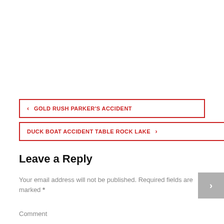‹ GOLD RUSH PARKER'S ACCIDENT
DUCK BOAT ACCIDENT TABLE ROCK LAKE ›
Leave a Reply
Your email address will not be published. Required fields are marked *
Comment